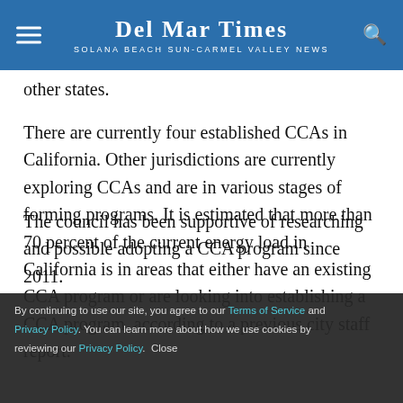Del Mar Times — Solana Beach Sun-Carmel Valley News
other states.
There are currently four established CCAs in California. Other jurisdictions are currently exploring CCAs and are in various stages of forming programs. It is estimated that more than 70 percent of the current energy load in California is in areas that either have an existing CCA program or are looking into establishing a CCA program, according to a previous city staff report.
The council has been supportive of researching and possible adopting a CCA program since 2011.
By continuing to use our site, you agree to our Terms of Service and Privacy Policy. You can learn more about how we use cookies by reviewing our Privacy Policy. Close